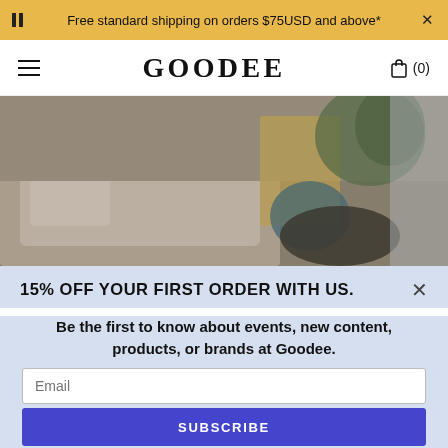Free standard shipping on orders $75USD and above*
GOODEE
[Figure (photo): Interior home decor photo showing a living room with a sofa, cushions, and soft warm lighting with plants in background]
15% OFF YOUR FIRST ORDER WITH US.
Be the first to know about events, new content, products, or brands at Goodee.
Email
SUBSCRIBE